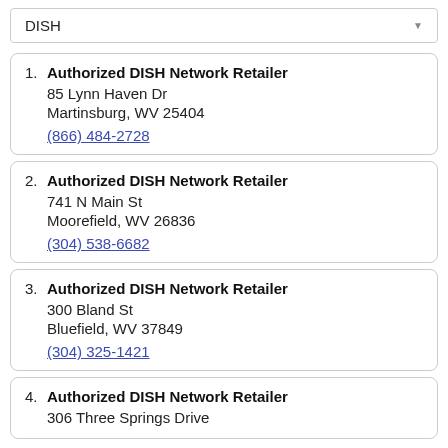DISH
1. Authorized DISH Network Retailer
85 Lynn Haven Dr
Martinsburg, WV 25404
(866) 484-2728
2. Authorized DISH Network Retailer
741 N Main St
Moorefield, WV 26836
(304) 538-6682
3. Authorized DISH Network Retailer
300 Bland St
Bluefield, WV 37849
(304) 325-1421
4. Authorized DISH Network Retailer
306 Three Springs Drive